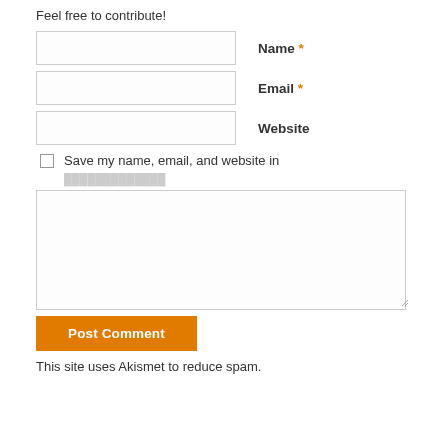Feel free to contribute!
Name *
Email *
Website
Save my name, email, and website in
Post Comment
This site uses Akismet to reduce spam.